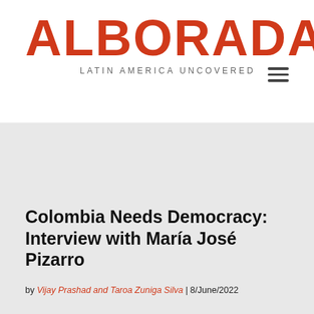ALBORADA — LATIN AMERICA UNCOVERED
Colombia Needs Democracy: Interview with María José Pizarro
by Vijay Prashad and Taroa Zuniga Silva | 8/June/2022